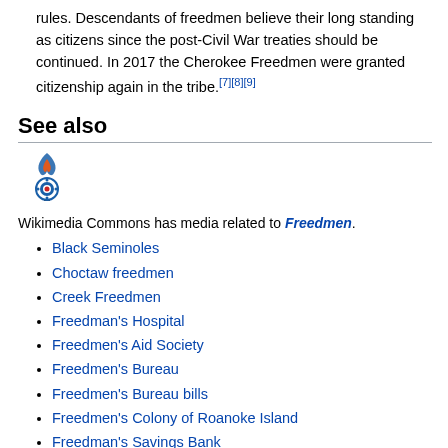rules. Descendants of freedmen believe their long standing as citizens since the post-Civil War treaties should be continued. In 2017 the Cherokee Freedmen were granted citizenship again in the tribe.[7][8][9]
See also
[Figure (logo): Wikimedia Commons logo — a stylized torch with a circular blue/red/white emblem]
Wikimedia Commons has media related to Freedmen.
Black Seminoles
Choctaw freedmen
Creek Freedmen
Freedman's Hospital
Freedmen's Aid Society
Freedmen's Bureau
Freedmen's Bureau bills
Freedmen's Colony of Roanoke Island
Freedman's Savings Bank
Freedmen's town
References